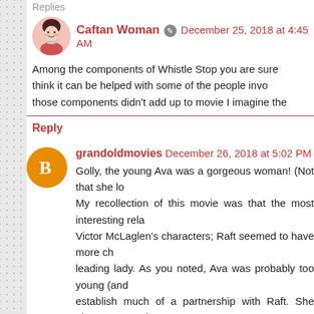Replies
Caftan Woman  December 25, 2018 at 4:45 AM
Among the components of Whistle Stop you are sure think it can be helped with some of the people invo those components didn't add up to movie I imagine the
Reply
grandoldmovies  December 26, 2018 at 5:02 PM
Golly, the young Ava was a gorgeous woman! (Not that she lo My recollection of this movie was that the most interesting rela Victor McLaglen's characters; Raft seemed to have more ch leading lady. As you noted, Ava was probably too young (and establish much of a partnership with Raft. She always seemed seemed to be a little apart from everyone else.
Reply
Replies
Caftan Woman  December 27, 2018 at 5:34...